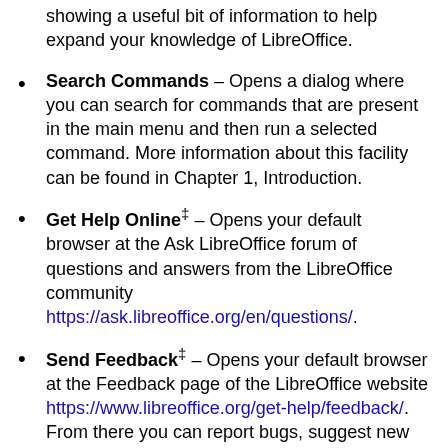Show Tip of the Day – Opens a dialog showing a useful bit of information to help expand your knowledge of LibreOffice.
Search Commands – Opens a dialog where you can search for commands that are present in the main menu and then run a selected command. More information about this facility can be found in Chapter 1, Introduction.
Get Help Online‡ – Opens your default browser at the Ask LibreOffice forum of questions and answers from the LibreOffice community https://ask.libreoffice.org/en/questions/.
Send Feedback‡ – Opens your default browser at the Feedback page of the LibreOffice website https://www.libreoffice.org/get-help/feedback/. From there you can report bugs, suggest new features, and